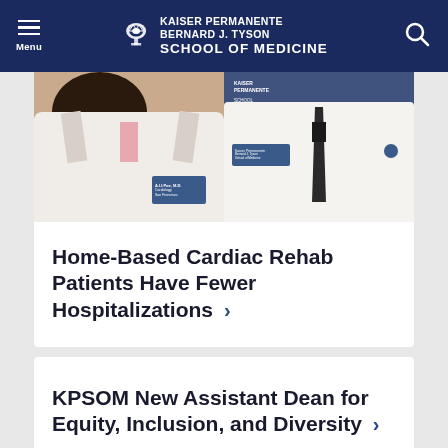Kaiser Permanente Bernard J. Tyson School of Medicine
[Figure (photo): Two medical professionals in white lab coats — a woman on the left and a man with a dark tie on the right, both wearing Kaiser Permanente Bernard J. Tyson School of Medicine badges.]
Home-Based Cardiac Rehab Patients Have Fewer Hospitalizations
KPSOM New Assistant Dean for Equity, Inclusion, and Diversity